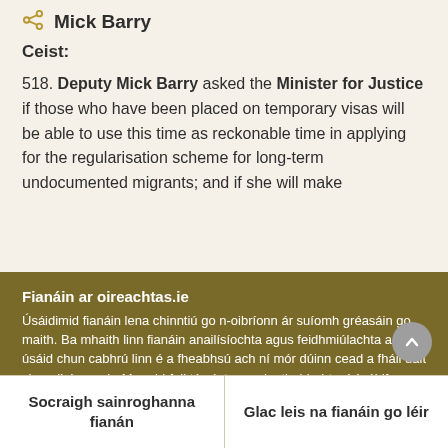Mick Barry
Ceist:
518. Deputy Mick Barry asked the Minister for Justice if those who have been placed on temporary visas will be able to use this time as reckonable time in applying for the regularisation scheme for long-term undocumented migrants; and if she will make
Fianáin ar oireachtas.ie
Úsáidimid fianáin lena chinntiú go n-oibríonn ár suíomh gréasáin go maith. Ba mhaith linn fianáin anailísíochta agus feidhmiúlachta a úsáid chun cabhrú linn é a fheabhsú ach ní mór dúinn cead a fháil uait sin a dhéanamh. Mura bhfuil tú sásta cead a thabhairt, ní úsáidfear ach fianáin riachtanacha. Léigh tuileadh faoinár bhfianáin
Socraigh sainroghanna fianán
Glac leis na fianáin go léir